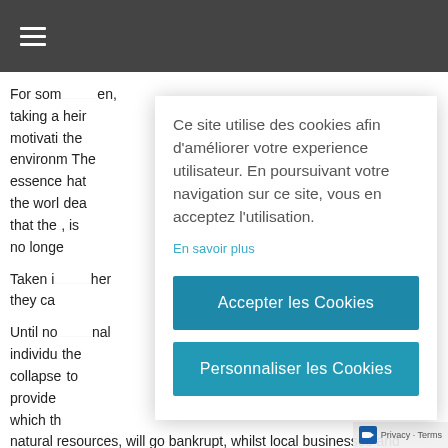≡
For som... en, taking a... heir motivatio... the environm... The essence... hat the worl... dea that the... , is no longe...
Ce site utilise des cookies afin d'améliorer votre experience utilisateur. En poursuivant votre navigation sur ce site, vous en acceptez l'utilisation.
En savoir plus
Accepter les Cookies
Personnaliser les Cookies
Taken i... her they ca...
Until no... nal individu... the collapse... to provide... which th... natural resources, will go bankrupt, whilst local businesses and